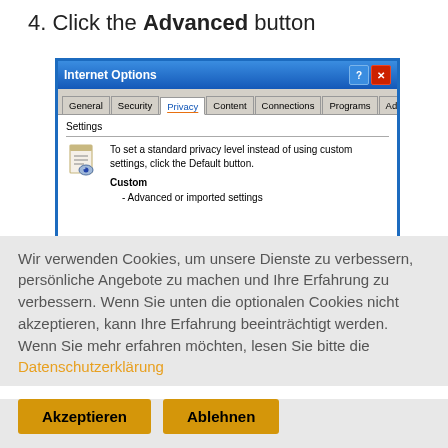4. Click the Advanced button
[Figure (screenshot): Windows XP Internet Options dialog showing the Privacy tab selected. The Settings section displays a document/privacy icon and text: 'To set a standard privacy level instead of using custom settings, click the Default button.' Below that is 'Custom' in bold, and '- Advanced or imported settings'.]
Wir verwenden Cookies, um unsere Dienste zu verbessern, persönliche Angebote zu machen und Ihre Erfahrung zu verbessern. Wenn Sie unten die optionalen Cookies nicht akzeptieren, kann Ihre Erfahrung beeinträchtigt werden. Wenn Sie mehr erfahren möchten, lesen Sie bitte die Datenschutzerklärung
Akzeptieren
Ablehnen